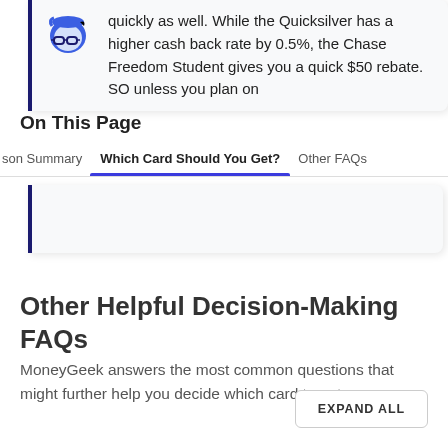quickly as well. While the Quicksilver has a higher cash back rate by 0.5%, the Chase Freedom Student gives you a quick $50 rebate. SO unless you plan on
On This Page
son Summary   Which Card Should You Get?   Other FAQs
Other Helpful Decision-Making FAQs
MoneyGeek answers the most common questions that might further help you decide which card to get.
EXPAND ALL